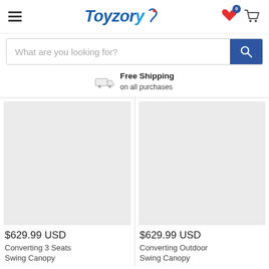[Figure (logo): Toyzory logo with stylized text in blue and a swoosh figure]
What are you looking for?
Free Shipping
on all purchases
[Figure (photo): Product image placeholder (gray box) for item 1]
$629.99 USD
Converting 3 Seats Swing Canopy
[Figure (photo): Product image placeholder (gray box) for item 2]
$629.99 USD
Converting Outdoor Swing Canopy